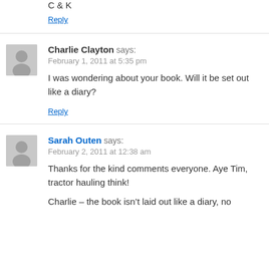C & K
Reply
Charlie Clayton says:
February 1, 2011 at 5:35 pm
I was wondering about your book. Will it be set out like a diary?
Reply
Sarah Outen says:
February 2, 2011 at 12:38 am
Thanks for the kind comments everyone. Aye Tim, tractor hauling think!
Charlie – the book isn’t laid out like a diary, no